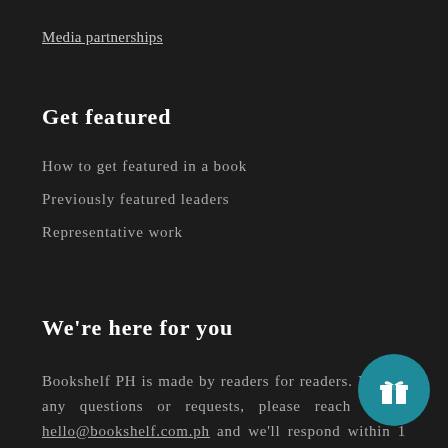Media partnerships
Get featured
How to get featured in a book
Previously featured leaders
Representative work
We're here for you
Bookshelf PH is made by readers for readers. If have any questions or requests, please reach us at hello@bookshelf.com.ph and we'll respond within 1 business day.